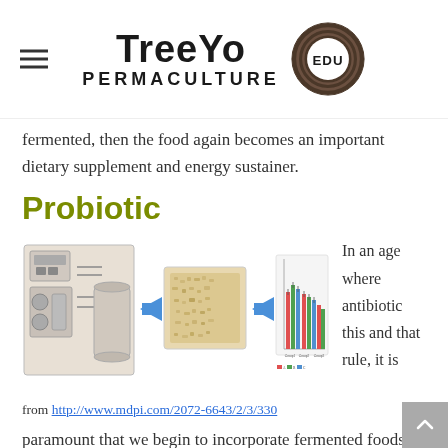TreeYo Permaculture EDU
fermented, then the food again becomes an important dietary supplement and energy sustainer.
Probiotic
[Figure (infographic): Scientific infographic showing fermentation process: lab equipment with arrow pointing to fermented food (powdered/granular substance), then arrow pointing to a grouped bar chart showing comparative data. From http://www.mdpi.com/2072-6643/2/3/330]
In an age where antibiotic this and that rule, it is
from http://www.mdpi.com/2072-6643/2/3/330
paramount that we begin to incorporate fermented foods more heavily in our diets so that the probiotic nature of